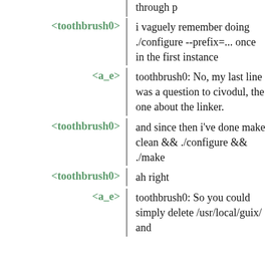through p
<toothbrush0>  i vaguely remember doing ./configure --prefix=... once in the first instance
<a_e>  toothbrush0: No, my last line was a question to civodul, the one about the linker.
<toothbrush0>  and since then i've done make clean && ./configure && ./make
<toothbrush0>  ah right
<a_e>  toothbrush0: So you could simply delete /usr/local/guix/ and